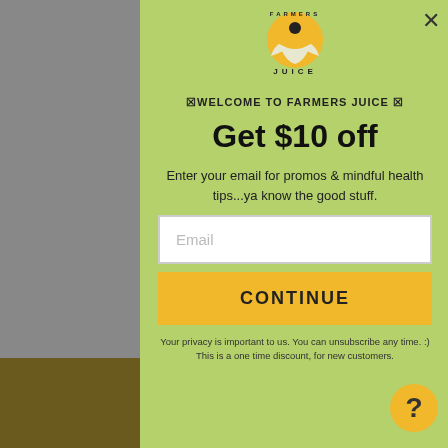[Figure (logo): Farmers Juice logo with a meditating figure in a circle, text FARMERS JUICE below]
✉ WELCOME TO FARMERS JUICE ✉
Get $10 off
Enter your email for promos & mindful health tips...ya know the good stuff.
Email (input field placeholder)
CONTINUE
Your privacy is important to us. You can unsubscribe any time. :) This is a one time discount, for new customers.